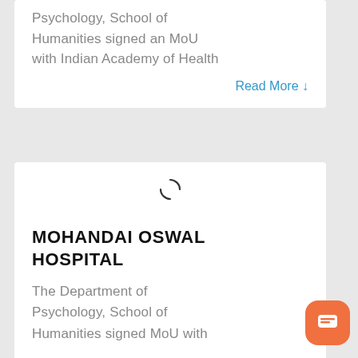Psychology, School of Humanities signed an MoU with Indian Academy of Health
Read More ↓
[Figure (other): Loading spinner icon]
MOHANDAI OSWAL HOSPITAL
The Department of Psychology, School of Humanities signed MoU with Mohandai Oswal Hospital. The
Read More ↓